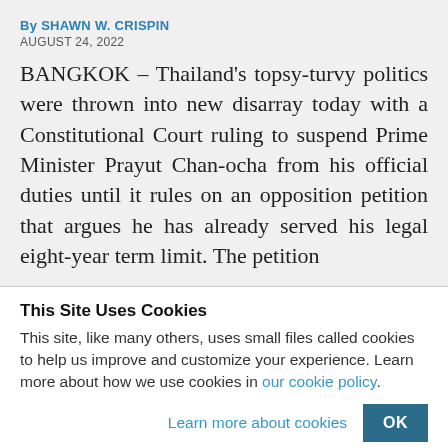By SHAWN W. CRISPIN
AUGUST 24, 2022
BANGKOK – Thailand's topsy-turvy politics were thrown into new disarray today with a Constitutional Court ruling to suspend Prime Minister Prayut Chan-ocha from his official duties until it rules on an opposition petition that argues he has already served his legal eight-year term limit. The petition
This Site Uses Cookies
This site, like many others, uses small files called cookies to help us improve and customize your experience. Learn more about how we use cookies in our cookie policy.
Learn more about cookies
OK